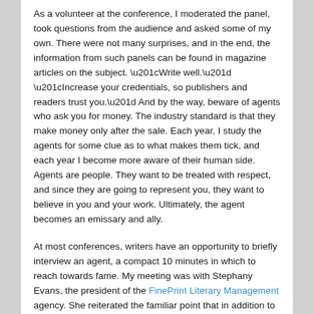As a volunteer at the conference, I moderated the panel, took questions from the audience and asked some of my own. There were not many surprises, and in the end, the information from such panels can be found in magazine articles on the subject. “Write well.” “Increase your credentials, so publishers and readers trust you.” And by the way, beware of agents who ask you for money. The industry standard is that they make money only after the sale. Each year, I study the agents for some clue as to what makes them tick, and each year I become more aware of their human side. Agents are people. They want to be treated with respect, and since they are going to represent you, they want to believe in you and your work. Ultimately, the agent becomes an emissary and ally.
At most conferences, writers have an opportunity to briefly interview an agent, a compact 10 minutes in which to reach towards fame. My meeting was with Stephany Evans, the president of the FinePrint Literary Management agency. She reiterated the familiar point that in addition to good writing, publishers expect writers to